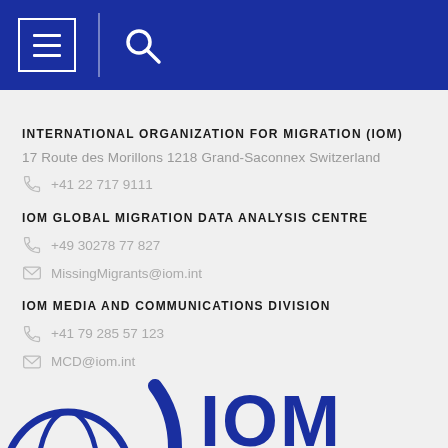[Figure (screenshot): Blue navigation header bar with hamburger menu icon (three lines in a white rectangle border) and search icon (magnifying glass)]
INTERNATIONAL ORGANIZATION FOR MIGRATION (IOM)
17 Route des Morillons 1218 Grand-Saconnex Switzerland
+41 22 717 9111
IOM GLOBAL MIGRATION DATA ANALYSIS CENTRE
+49 30278 77 827
MissingMigrants@iom.int
IOM MEDIA AND COMMUNICATIONS DIVISION
+41 79 285 57 123
MCD@iom.int
[Figure (logo): IOM logo — globe icon and IOM lettering in dark blue, partially visible at bottom of page]